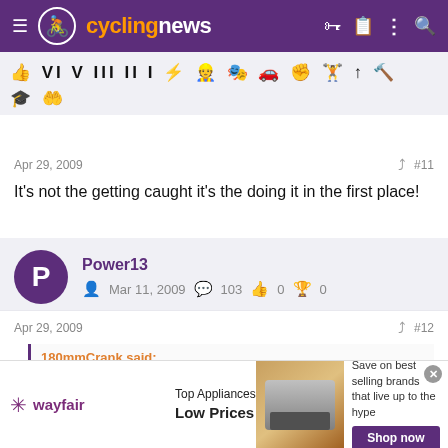cyclingnews
[Figure (other): Row of cycling achievement/rank icons and emoji symbols]
Apr 29, 2009
#11
It's not the getting caught it's the doing it in the first place!
Power13
Mar 11, 2009  103  0  0
Apr 29, 2009
#12
180mmCrank said: